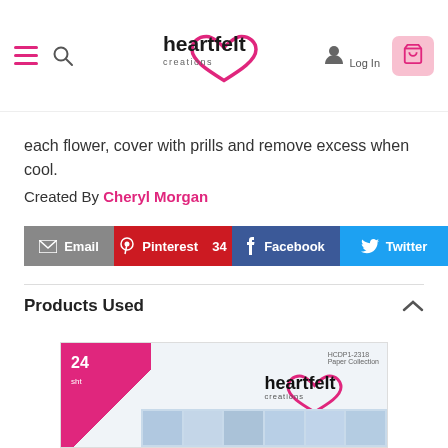Heartfelt Creations — navigation bar with hamburger menu, search, logo, Log In, and cart icons
each flower, cover with prills and remove excess when cool.
Created By Cheryl Morgan
Email  Pinterest 34  Facebook  Twitter
Products Used
[Figure (photo): Heartfelt Creations 24-sheet paper collection product box showing the brand logo and sample paper designs]